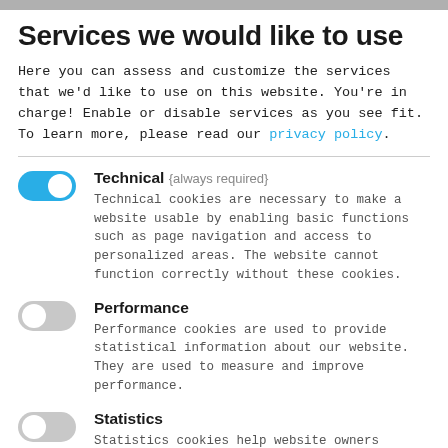Services we would like to use
Here you can assess and customize the services that we'd like to use on this website. You're in charge! Enable or disable services as you see fit. To learn more, please read our privacy policy.
Technical (always required) - Technical cookies are necessary to make a website usable by enabling basic functions such as page navigation and access to personalized areas. The website cannot function correctly without these cookies.
Performance - Performance cookies are used to provide statistical information about our website. They are used to measure and improve performance.
Statistics - Statistics cookies help website owners understand how visitors interact with websites by collecting and reporting information anonymously.